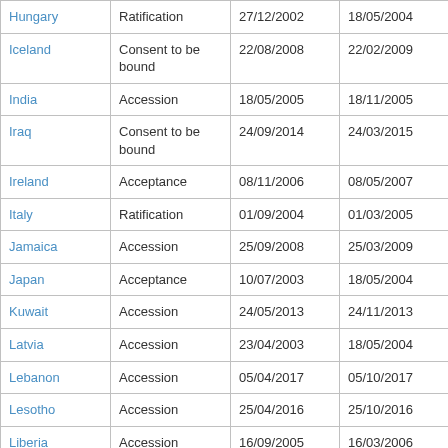| Country | Type | Date signed/deposited | Entry into force |
| --- | --- | --- | --- |
| Hungary | Ratification | 27/12/2002 | 18/05/2004 |
| Iceland | Consent to be bound | 22/08/2008 | 22/02/2009 |
| India | Accession | 18/05/2005 | 18/11/2005 |
| Iraq | Consent to be bound | 24/09/2014 | 24/03/2015 |
| Ireland | Acceptance | 08/11/2006 | 08/05/2007 |
| Italy | Ratification | 01/09/2004 | 01/03/2005 |
| Jamaica | Accession | 25/09/2008 | 25/03/2009 |
| Japan | Acceptance | 10/07/2003 | 18/05/2004 |
| Kuwait | Accession | 24/05/2013 | 24/11/2013 |
| Latvia | Accession | 23/04/2003 | 18/05/2004 |
| Lebanon | Accession | 05/04/2017 | 05/10/2017 |
| Lesotho | Accession | 25/04/2016 | 25/10/2016 |
| Liberia | Accession | 16/09/2005 | 16/03/2006 |